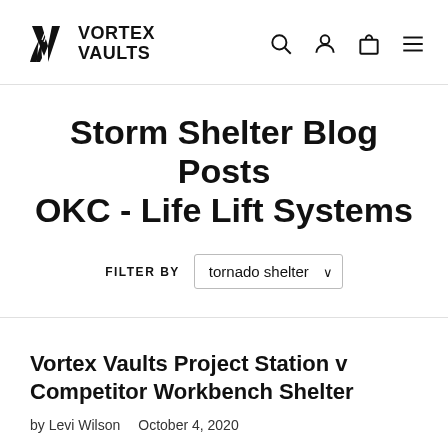Vortex Vaults — navigation header with logo, search, account, cart, and menu icons
Storm Shelter Blog Posts OKC - Life Lift Systems
FILTER BY  tornado shelter
Vortex Vaults Project Station v Competitor Workbench Shelter
by Levi Wilson   October 4, 2020